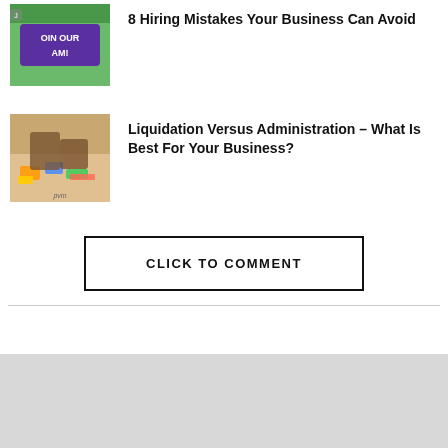[Figure (photo): Thumbnail image showing a purple sign that reads JOIN OUR TEAM!]
8 Hiring Mistakes Your Business Can Avoid
[Figure (photo): Thumbnail image showing a person's hands working at a desk with colorful papers and sticky notes]
Liquidation Versus Administration – What Is Best For Your Business?
CLICK TO COMMENT
Social media icons: Facebook, Twitter, YouTube, and another network